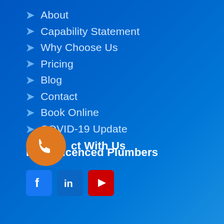About
Capability Statement
Why Choose Us
Pricing
Blog
Contact
Book Online
COVID-19 Update
Fully Licenced Plumbers
Connect With Us